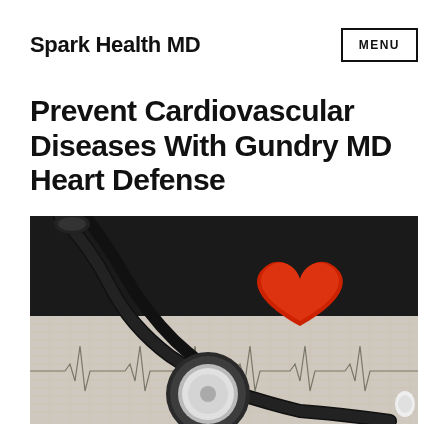Spark Health MD
Prevent Cardiovascular Diseases With Gundry MD Heart Defense
[Figure (photo): A stethoscope and a red heart-shaped object resting on an ECG/EKG printout paper, shot from above on a dark background. The stethoscope's chest piece is visible in the foreground.]